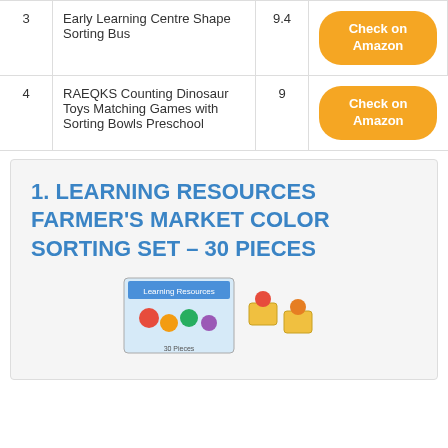| # | Product | Score |  |
| --- | --- | --- | --- |
| 3 | Early Learning Centre Shape Sorting Bus | 9.4 | Check on Amazon |
| 4 | RAEQKS Counting Dinosaur Toys Matching Games with Sorting Bowls Preschool | 9 | Check on Amazon |
1. LEARNING RESOURCES FARMER'S MARKET COLOR SORTING SET – 30 PIECES
[Figure (photo): Product image of Learning Resources Farmer's Market Color Sorting Set with colorful fruit baskets and toys]